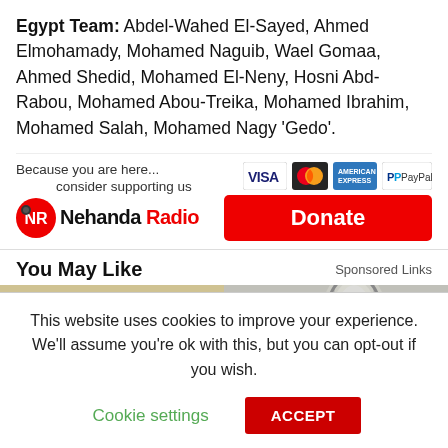Egypt Team: Abdel-Wahed El-Sayed, Ahmed Elmohamady, Mohamed Naguib, Wael Gomaa, Ahmed Shedid, Mohamed El-Neny, Hosni Abd-Rabou, Mohamed Abou-Treika, Mohamed Ibrahim, Mohamed Salah, Mohamed Nagy 'Gedo'.
[Figure (infographic): Nehanda Radio support/donate widget with logo and payment icons (VISA, Mastercard, American Express, PayPal) and a red Donate button]
You May Like
Sponsored Links
[Figure (photo): Two thumbnail photos side by side — left shows interior of a vehicle/train, right shows a close-up of a cylindrical object]
This website uses cookies to improve your experience. We'll assume you're ok with this, but you can opt-out if you wish.